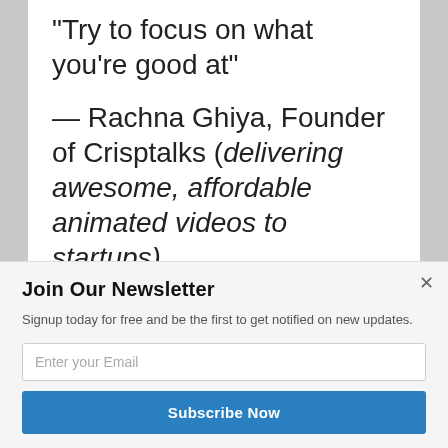“Try to focus on what you’re good at”
— Rachna Ghiya, Founder of Crisptalks (delivering awesome, affordable animated videos to startups)
Join Our Newsletter
Signup today for free and be the first to get notified on new updates.
Enter your Email
Subscribe Now